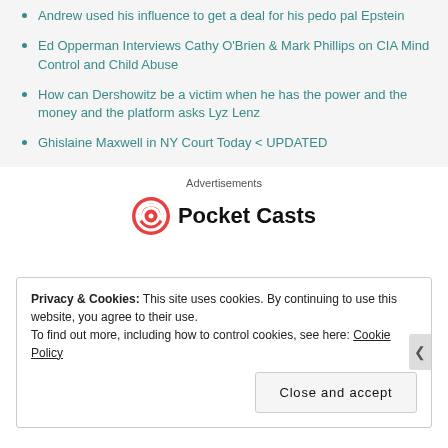Andrew used his influence to get a deal for his pedo pal Epstein
Ed Opperman Interviews Cathy O'Brien & Mark Phillips on CIA Mind Control and Child Abuse
How can Dershowitz be a victim when he has the power and the money and the platform asks Lyz Lenz
Ghislaine Maxwell in NY Court Today < UPDATED
Advertisements
[Figure (logo): Pocket Casts logo: red circular icon with white headphone/wave symbol and bold text 'Pocket Casts']
Privacy & Cookies: This site uses cookies. By continuing to use this website, you agree to their use. To find out more, including how to control cookies, see here: Cookie Policy
Close and accept